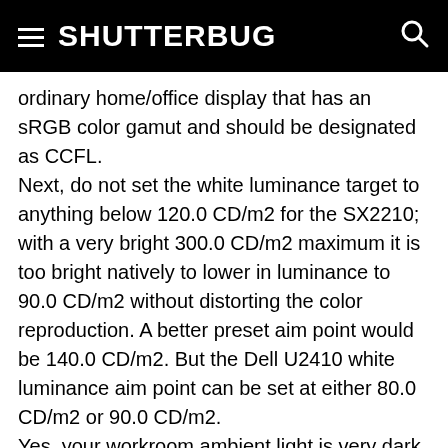SHUTTERBUG
ordinary home/office display that has an sRGB color gamut and should be designated as CCFL.
Next, do not set the white luminance target to anything below 120.0 CD/m2 for the SX2210; with a very bright 300.0 CD/m2 maximum it is too bright natively to lower in luminance to 90.0 CD/m2 without distorting the color reproduction. A better preset aim point would be 140.0 CD/m2. But the Dell U2410 white luminance aim point can be set at either 80.0 CD/m2 or 90.0 CD/m2.
Yes, your workroom ambient light is very dark, much darker than my lab, so do not activate the auto-adjust ambient light feature; use the colorimeter to measure to reset the working brightness. It will just